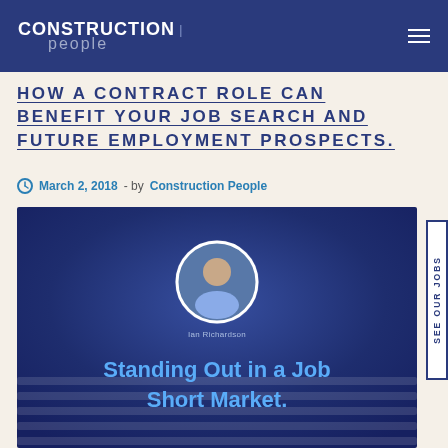CONSTRUCTION people
HOW A CONTRACT ROLE CAN BENEFIT YOUR JOB SEARCH AND FUTURE EMPLOYMENT PROSPECTS.
March 2, 2018 - by Construction People
[Figure (photo): Feature image with dark blue background showing a circular profile photo of Ian Richardson and the text 'Standing Out in a Job Short Market.']